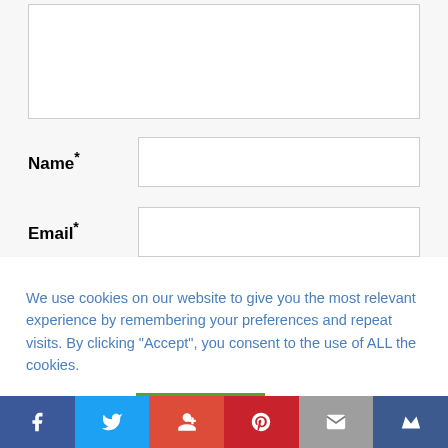[Figure (screenshot): Text area input box (empty, with border)]
Name*
[Figure (screenshot): Name input field (empty, with border)]
Email*
[Figure (screenshot): Email input field (empty, with border)]
We use cookies on our website to give you the most relevant experience by remembering your preferences and repeat visits. By clicking “Accept”, you consent to the use of ALL the cookies.
Cookie settings
ACCEPT
[Figure (infographic): Social sharing bar with Facebook, Twitter, Google+, Pinterest, Email, and bookmark icons]